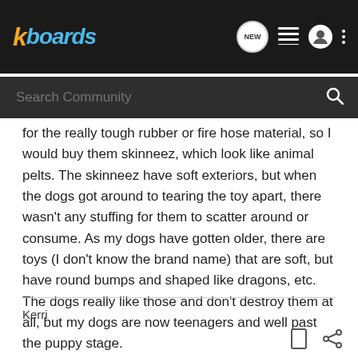kboards
for the really tough rubber or fire hose material, so I would buy them skinneez, which look like animal pelts.  The skinneez have soft exteriors, but when the dogs got around to tearing the toy apart, there wasn't any stuffing for them  to scatter around or consume.  As my dogs have gotten older, there are toys (I don't know the brand name) that are soft, but have round bumps and shaped like dragons, etc.  The dogs really like those and don't destroy them at all, but my dogs are now teenagers and well past the puppy stage.
Kerri